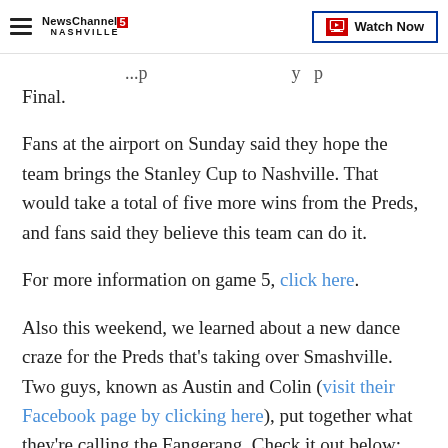NewsChannel 5 Nashville | Watch Now
Final.
Fans at the airport on Sunday said they hope the team brings the Stanley Cup to Nashville. That would take a total of five more wins from the Preds, and fans said they believe this team can do it.
For more information on game 5, click here.
Also this weekend, we learned about a new dance craze for the Preds that's taking over Smashville. Two guys, known as Austin and Colin (visit their Facebook page by clicking here), put together what they're calling the Fangerang. Check it out below: